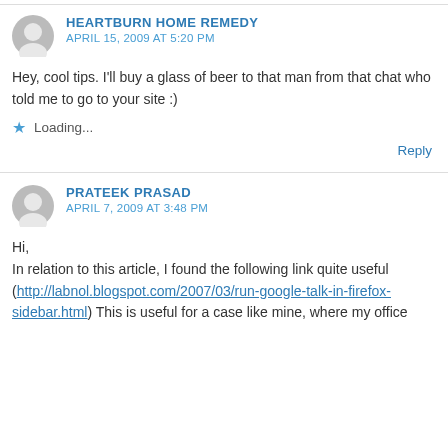HEARTBURN HOME REMEDY
APRIL 15, 2009 AT 5:20 PM
Hey, cool tips. I'll buy a glass of beer to that man from that chat who told me to go to your site :)
Loading...
Reply
PRATEEK PRASAD
APRIL 7, 2009 AT 3:48 PM
Hi,
In relation to this article, I found the following link quite useful (http://labnol.blogspot.com/2007/03/run-google-talk-in-firefox-sidebar.html) This is useful for a case like mine, where my office